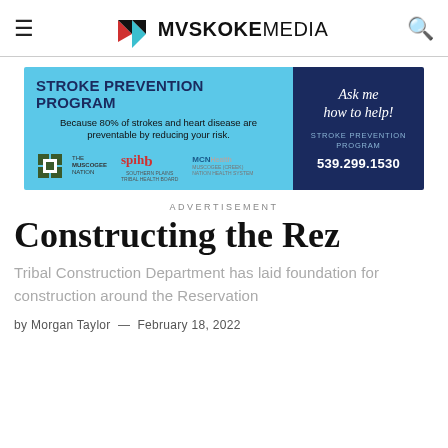MVSKOKE MEDIA
[Figure (infographic): Stroke Prevention Program advertisement banner with blue background. Left side: 'STROKE PREVENTION PROGRAM - Because 80% of strokes and heart disease are preventable by reducing your risk.' with logos for The Muscogee Nation, SPIHB, and MCN Health. Right side dark navy box: 'Ask me how to help! STROKE PREVENTION PROGRAM 539.299.1530']
ADVERTISEMENT
Constructing the Rez
Tribal Construction Department has laid foundation for construction around the Reservation
by Morgan Taylor — February 18, 2022